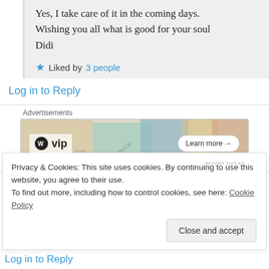Yes, I take care of it in the coming days.
Wishing you all what is good for your soul
Didi
Liked by 3 people
Log in to Reply
Advertisements
[Figure (other): WordPress VIP advertisement banner with Learn more button]
MissTalkaholic on 11/07/2017 at 11:49
Privacy & Cookies: This site uses cookies. By continuing to use this website, you agree to their use.
To find out more, including how to control cookies, see here: Cookie Policy
Close and accept
Log in to Reply